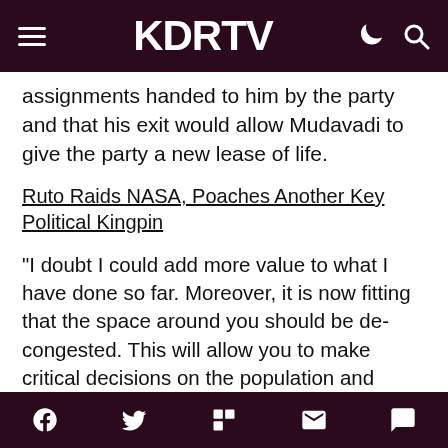KDRTV
assignments handed to him by the party and that his exit would allow Mudavadi to give the party a new lease of life.
Ruto Raids NASA, Poaches Another Key Political Kingpin
“I doubt I could add more value to what I have done so far. Moreover, it is now fitting that the space around you should be de-congested. This will allow you to make critical decisions on the population and leadership under the new constitution,” reads part of the resignation letter.
Mudavadi later nominated former Kibra parliamentary aspirant Eliud Owalo as the new ANC Secretary-General. However, this did not last long as Owalo resigned from
f  🐦  📰  ✉  💬